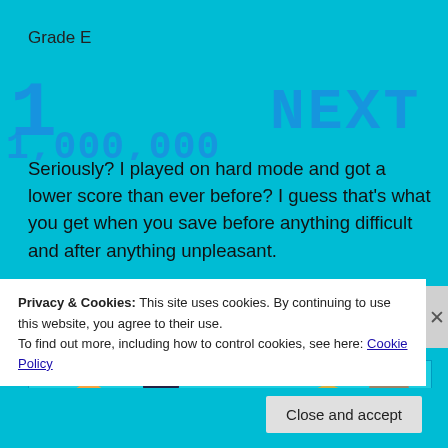Grade E
[Figure (screenshot): Score display showing '1' in large blue pixel font on the left, and 'NEXT' in large blue pixel font on the right, with a score '1,000,000' overlaid in blue pixel font below]
Seriously? I played on hard mode and got a lower score than ever before? I guess that's what you get when you save before anything difficult and after anything unpleasant.
[Figure (photo): Group of cartoon and pop-culture characters including Beaker from the Muppets, a dark armored villain, an orange cartoon character, a Dalek from Doctor Who, and Groot from Guardians of the Galaxy, on a cyan background]
Privacy & Cookies: This site uses cookies. By continuing to use this website, you agree to their use.
To find out more, including how to control cookies, see here: Cookie Policy
Close and accept